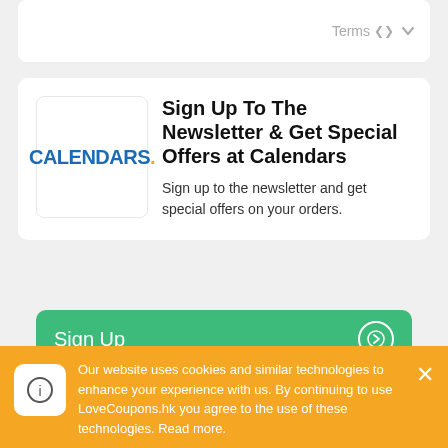Terms ˅
[Figure (logo): Calendars.com logo with blue text and orange dot]
Sign Up To The Newsletter & Get Special Offers at Calendars
Sign up to the newsletter and get special offers on your orders.
Sign Up →
Expired Calendars coupons – they may still work!
Our website uses cookies and similar technologies to enhance your experience with us. By continuing to use LoveCoupons.hk you agree to the use of these technologies. Read more.